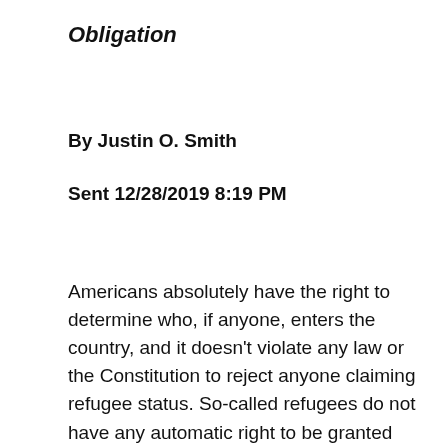Obligation
By Justin O. Smith
Sent 12/28/2019 8:19 PM
Americans absolutely have the right to determine who, if anyone, enters the country, and it doesn't violate any law or the Constitution to reject anyone claiming refugee status. So-called refugees do not have any automatic right to be granted entry, despite many leftist assertions to